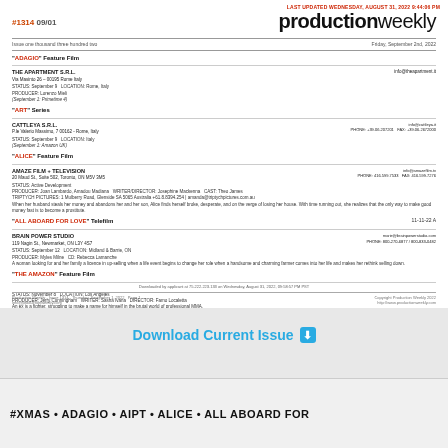LAST UPDATED WEDNESDAY, AUGUST 31, 2022 9:44:06 PM
#1314 09/01 productionweekly
Issue one thousand three hundred two   Friday, September 2nd, 2022
"ADAGIO" Feature Film
THE APARTMENT S.R.L. Via Masinto 26 - 00195 Rome Italy   info@theapartment.it
STATUS: September 9  LOCATION: Rome, Italy  PRODUCER: Lorenzo Mieli (September 1: Primetime 4)
"ART" Series
CATTLEYA S.R.L. P.le Valerio Massimo, 7 00162 - Rome, Italy   info@cattleya.it  PHONE: +39.06.207201  FAX: +39.06.2672000
STATUS: September 9  LOCATION: Italy (September 1: Amazon UK)
"ALICE" Feature Film
AMAZE FILM + TELEVISION 20 Maud St., Suite 502, Toronto, ON M5V 3M5   info@amazefilm.tv  PHONE: 416.599.7533  FAX: 416.599.7276
STATUS: Active Development  PRODUCER: Joan Lambardo, Amadou Madiana WRITER/DIRECTOR: Josephine Mackenna CAST: Theo James  TRIPTYCH PICTURES: 1 Mulberry Road, Glenside SA 5065 Australia +61.8.8394.254 | amanda@triptychpictures.com.au  When her husband steals her money and abandons her and her son, Alice finds herself broke, desperate, and on the verge of losing her house. With time running out, she realizes that the only way to make good money fast is to become a prostitute.
"ALL ABOARD FOR LOVE" Telefilm   11-11-22 A
BRAIN POWER STUDIO 119 Nagin St., Newmarket, ON L3Y 4S7   marie@brainpowerstudio.com  PHONE: 800-270-6877 / 800-833-0482
STATUS: September 12  LOCATION: Midland & Barrie, ON  PRODUCER: Myles Milne CD: Rebecca Lamanche  A woman looking for and her family a licence in up-selling when a life event begins to change her role when a handsome and charming farmer comes into her life and makes her rethink selling down.
"THE AMAZON" Feature Film
STATUS: November 8  LOCATION: Los Angeles  PRODUCER: Jerry Cunningham WRITER: Sasha Ivana DIRECTOR: Famo Localetta  An ex is a fighter, struggling to make a name for himself in the brutal world of professional MMA.
Downloaded by applicant at 75.222.223.133 on Wednesday, August 31, 2022, 09:58:57 PM PST
Production Weekly - Issue 1314 - Thursday, September 1, 2022  Page 1  Copyright Production Weekly 2022
info@productionweekly.com   http://www.productionweekly.com
Download Current Issue ⬇
#XMAS • ADAGIO • AIPT • ALICE • ALL ABOARD FOR